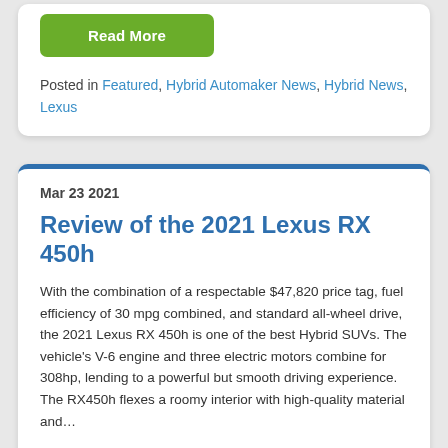[Figure (other): Green 'Read More' button]
Posted in Featured, Hybrid Automaker News, Hybrid News, Lexus
Mar 23 2021
Review of the 2021 Lexus RX 450h
With the combination of a respectable $47,820 price tag, fuel efficiency of 30 mpg combined, and standard all-wheel drive, the 2021 Lexus RX 450h is one of the best Hybrid SUVs. The vehicle's V-6 engine and three electric motors combine for 308hp, lending to a powerful but smooth driving experience. The RX450h flexes a roomy interior with high-quality material and…
[Figure (other): Green 'Read More' button (partially visible at bottom)]